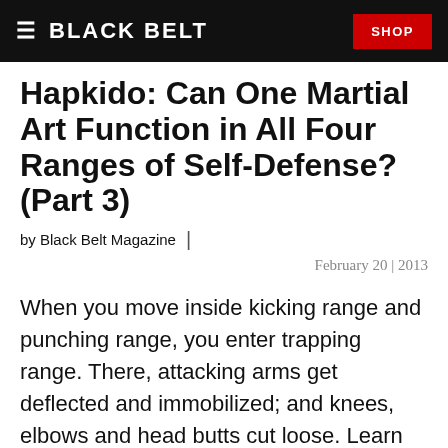BLACK BELT | SHOP
Hapkido: Can One Martial Art Function in All Four Ranges of Self-Defense? (Part 3)
by Black Belt Magazine |
February 20 | 2013
When you move inside kicking range and punching range, you enter trapping range. There, attacking arms get deflected and immobilized; and knees, elbows and head butts cut loose. Learn how Jang Mu Won